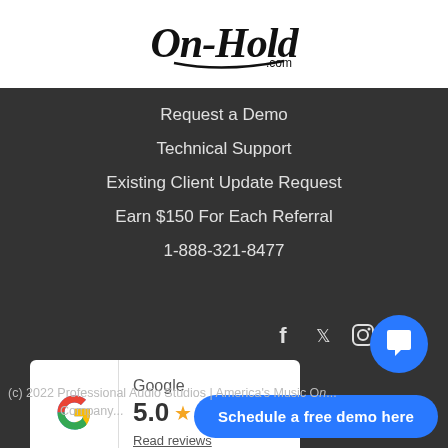[Figure (logo): OnHold.com handwritten/script logo in black on white background]
Request a Demo
Technical Support
Existing Client Update Request
Earn $150 For Each Referral
1-888-321-8477
[Figure (infographic): Social media icons: Facebook, Twitter, Instagram, Email]
[Figure (infographic): Google review widget showing 5.0 stars rating with Google G logo and Read reviews link]
[Figure (infographic): Blue chat bubble button icon]
Schedule a free demo here
(c) 2022 Professional Audio Studios | America's Music On-Hold Company